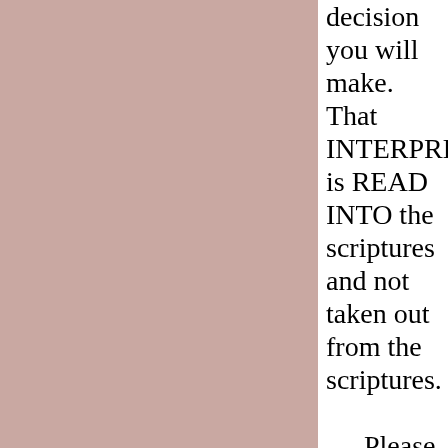decision you will make. That INTERPRET is READ INTO the scriptures and not taken out from the scriptures.   Please consider God giving the